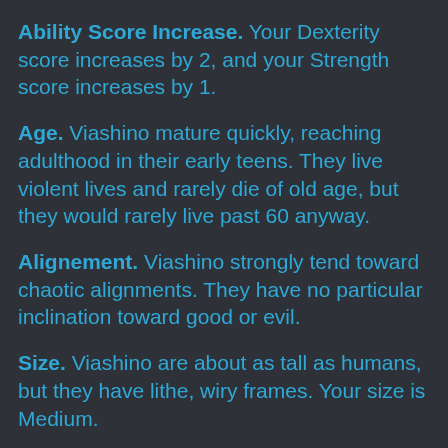Ability Score Increase. Your Dexterity score increases by 2, and your Strength score increases by 1.
Age. Viashino mature quickly, reaching adulthood in their early teens. They live violent lives and rarely die of old age, but they would rarely live past 60 anyway.
Alignement. Viashino strongly tend toward chaotic alignments. They have no particular inclination toward good or evil.
Size. Viashino are about as tall as humans, but they have lithe, wiry frames. Your size is Medium.